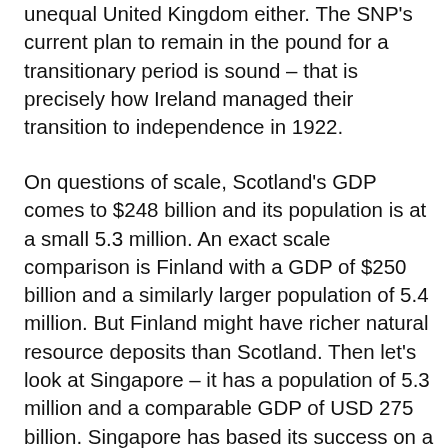unequal United Kingdom either. The SNP's current plan to remain in the pound for a transitionary period is sound – that is precisely how Ireland managed their transition to independence in 1922.
On questions of scale, Scotland's GDP comes to $248 billion and its population is at a small 5.3 million. An exact scale comparison is Finland with a GDP of $250 billion and a similarly larger population of 5.4 million. But Finland might have richer natural resource deposits than Scotland. Then let's look at Singapore – it has a population of 5.3 million and a comparable GDP of USD 275 billion. Singapore has based its success on a highly educated population and its place as a centre of exchange for world trade. If Singapore, Finland, and Iceland can all be successful independent countries, I see no obvious reason that Scotland cannot. Scottish